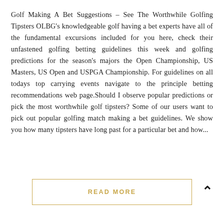Golf Making A Bet Suggestions – See The Worthwhile Golfing Tipsters OLBG's knowledgeable golf having a bet experts have all of the fundamental excursions included for you here, check their unfastened golfing betting guidelines this week and golfing predictions for the season's majors the Open Championship, US Masters, US Open and USPGA Championship. For guidelines on all todays top carrying events navigate to the principle betting recommendations web page.Should I observe popular predictions or pick the most worthwhile golf tipsters? Some of our users want to pick out popular golfing match making a bet guidelines. We show you how many tipsters have long past for a particular bet and how...
READ MORE